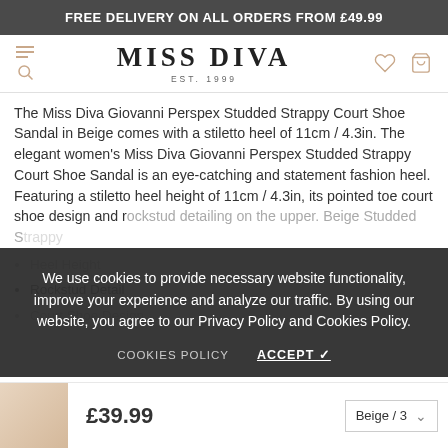FREE DELIVERY ON ALL ORDERS FROM £49.99
[Figure (logo): Miss Diva EST. 1999 logo with navigation icons]
The Miss Diva Giovanni Perspex Studded Strappy Court Shoe Sandal in Beige comes with a stiletto heel of 11cm / 4.3in. The elegant women's Miss Diva Giovanni Perspex Studded Strappy Court Shoe Sandal is an eye-catching and statement fashion heel. Featuring a stiletto heel height of 11cm / 4.3in, its pointed toe court shoe design and rockstud detailing on the upper. Beige Studded Strappy heel...
We use cookies to provide necessary website functionality, improve your experience and analyze our traffic. By using our website, you agree to our Privacy Policy and Cookies Policy.
COOKIES POLICY    ACCEPT ✓
Heel Height
Rockstud Detail
Court Shoe Design
£39.99